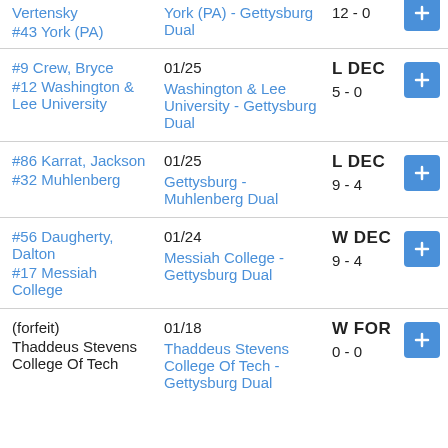| Wrestler / Opponent | Event / Date | Result |
| --- | --- | --- |
| Vertensky
#43 York (PA) | York (PA) - Gettysburg Dual | 12 - 0 |
| #9 Crew, Bryce
#12 Washington & Lee University | 01/25
Washington & Lee University - Gettysburg Dual | L DEC
5 - 0 |
| #86 Karrat, Jackson
#32 Muhlenberg | 01/25
Gettysburg - Muhlenberg Dual | L DEC
9 - 4 |
| #56 Daugherty, Dalton
#17 Messiah College | 01/24
Messiah College - Gettysburg Dual | W DEC
9 - 4 |
| (forfeit)
Thaddeus Stevens College Of Tech | 01/18
Thaddeus Stevens College Of Tech - Gettysburg Dual | W FOR
0 - 0 |